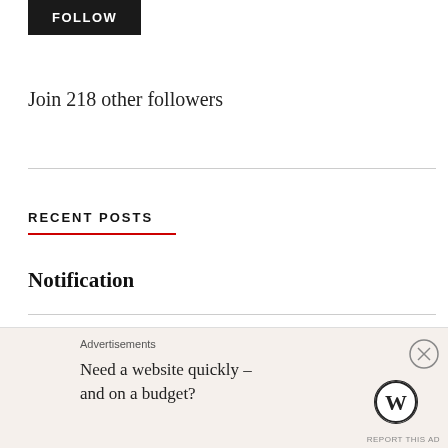[Figure (other): FOLLOW button — black rectangle with white bold uppercase text]
Join 218 other followers
RECENT POSTS
Notification
Be A Star . . . Forget The Scar – Press Release
Friends
Advertisements
Need a website quickly – and on a budget?